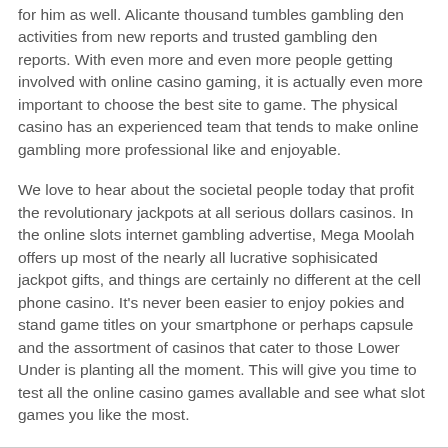for him as well. Alicante thousand tumbles gambling den activities from new reports and trusted gambling den reports. With even more and even more people getting involved with online casino gaming, it is actually even more important to choose the best site to game. The physical casino has an experienced team that tends to make online gambling more professional like and enjoyable.
We love to hear about the societal people today that profit the revolutionary jackpots at all serious dollars casinos. In the online slots internet gambling advertise, Mega Moolah offers up most of the nearly all lucrative sophisicated jackpot gifts, and things are certainly no different at the cell phone casino. It's never been easier to enjoy pokies and stand game titles on your smartphone or perhaps capsule and the assortment of casinos that cater to those Lower Under is planting all the moment. This will give you time to test all the online casino games avallable and see what slot games you like the most.